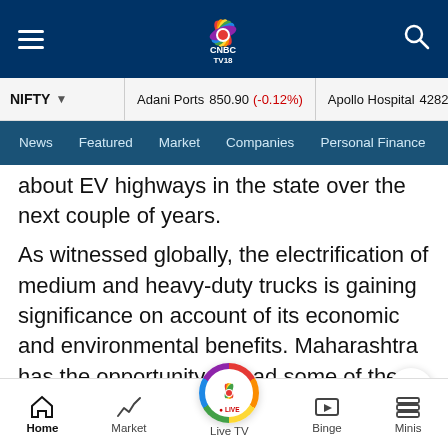CNBC TV18 navigation bar with hamburger menu, CNBC TV18 logo, and search icon
NIFTY ▾  Adani Ports 850.90 (-0.12%)  Apollo Hospital 4282.55 (-0...
News  Featured  Market  Companies  Personal Finance
...about EV highways in the state over the next couple of years.
As witnessed globally, the electrification of medium and heavy-duty trucks is gaining significance on account of its economic and environmental benefits. Maharashtra has the opportunity to lead some of these early pilots that could be critical for policy and business decision making in the electrification of the long-haul segment.
Home  Market  Live TV  Binge  Minis